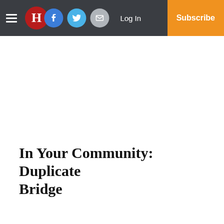H — Log In — Subscribe
In Your Community: Duplicate Bridge